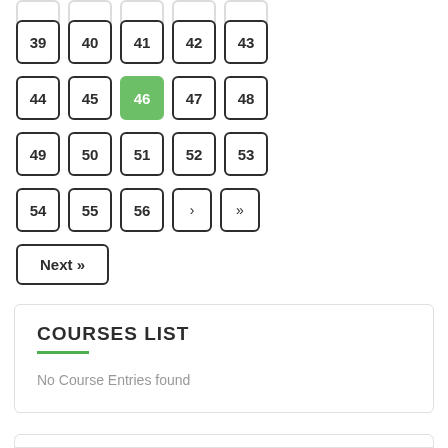39, 40, 41, 42, 43
44, 45, 46 (active), 47, 48
49, 50, 51, 52, 53
54, 55, 56, ›, »
Next »
COURSES LIST
No Course Entries found